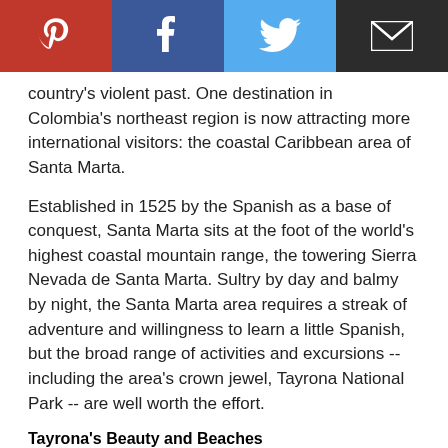[Figure (infographic): Social media sharing bar with Pinterest (red), Facebook (dark blue), Twitter (light blue), and email (dark/black) buttons]
country's violent past. One destination in Colombia's northeast region is now attracting more international visitors: the coastal Caribbean area of Santa Marta.
Established in 1525 by the Spanish as a base of conquest, Santa Marta sits at the foot of the world's highest coastal mountain range, the towering Sierra Nevada de Santa Marta. Sultry by day and balmy by night, the Santa Marta area requires a streak of adventure and willingness to learn a little Spanish, but the broad range of activities and excursions -- including the area's crown jewel, Tayrona National Park -- are well worth the effort.
Tayrona's Beauty and Beaches
[Figure (photo): Aerial photograph of dense green tropical forest/jungle canopy]